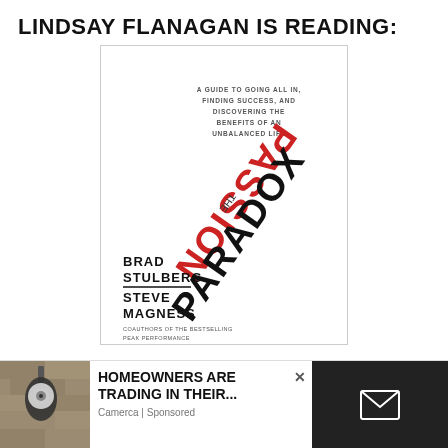LINDSAY FLANAGAN IS READING:
[Figure (photo): Book cover of 'The Passion Paradox' by Brad Stulberg and Steve Magness. The title text is displayed upside-down and rotated diagonally. 'PASSION' is in red, 'PARADOX' is in black bold. Subtitle reads: A GUIDE TO GOING ALL IN, FINDING SUCCESS, AND DISCOVERING THE BENEFITS OF AN UNBALANCED LIFE. Authors: Brad Stulberg and Steve Magness. Coauthors of the bestselling Peak Performance.]
[Figure (photo): Advertisement showing a security camera light fixture on a stone wall. Text reads: HOMEOWNERS ARE TRADING IN THEIR... Camerca | Sponsored. There is an X close button and a dark email/envelope icon box on the right.]